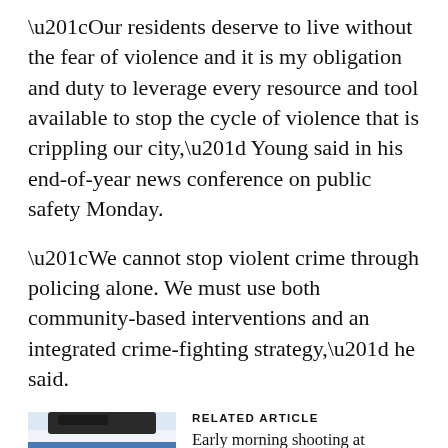“Our residents deserve to live without the fear of violence and it is my obligation and duty to leverage every resource and tool available to stop the cycle of violence that is crippling our city,” Young said in his end-of-year news conference on public safety Monday.
“We cannot stop violent crime through policing alone. We must use both community-based interventions and an integrated crime-fighting strategy,” he said.
[Figure (photo): Photo of a Baltimore police car with a badge decal visible, showing the word BALTIMORE on the side of the vehicle.]
RELATED ARTICLE
Early morning shooting at Baltimore methadone clinic leaves two dead, police officer wounded
With hours still left to go in 2019, there have been 347 homicides in Baltimore this year, the highest per